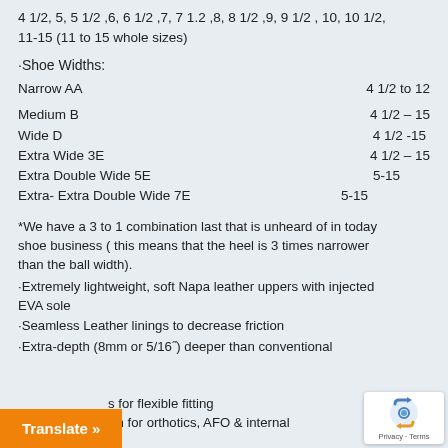4 1/2, 5, 5 1/2 ,6, 6 1/2 ,7, 7 1.2 ,8, 8 1/2 ,9, 9 1/2 , 10, 10 1/2, 11-15 (11 to 15 whole sizes)
·Shoe Widths:
Narrow AA    4 1/2 to 12
Medium B    4 1/2 – 15
Wide D    4 1/2 -15
Extra Wide 3E    4 1/2 – 15
Extra Double Wide 5E    5-15
Extra- Extra Double Wide 7E    5-15
*We have a 3 to 1 combination last that is unheard of in today shoe business ( this means that the heel is 3 times narrower than the ball width).
·Extremely lightweight, soft Napa leather uppers with injected EVA sole
·Seamless Leather linings to decrease friction
·Extra-depth (8mm or 5/16") deeper than conventional
s for flexible fitting
dation for orthotics, AFO & internal